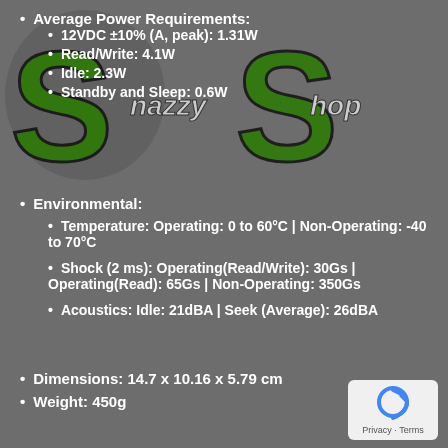[Figure (logo): Snazzy Shop logo with green metallic 'SS' letters and text 'snazzy shop' on grey background]
Average Power Requirements:
12VDC ±10% (A, peak): 1.31W
Read/Write: 4.1W
Idle: 2.3W
Standby and Sleep: 0.6W
Environmental:
Temperature: Operating: 0 to 60°C | Non-Operating: -40 to 70°C
Shock (2 ms): Operating(Read/Write): 30Gs | Operating(Read): 65Gs | Non-Operating: 350Gs
Acoustics: Idle: 21dBA | Seek (Average): 26dBA
Dimensions: 14.7 x 10.16 x 5.79 cm
Weight: 450g
[Figure (logo): reCAPTCHA privacy badge with blue circular arrow icon and 'Privacy - Terms' text]